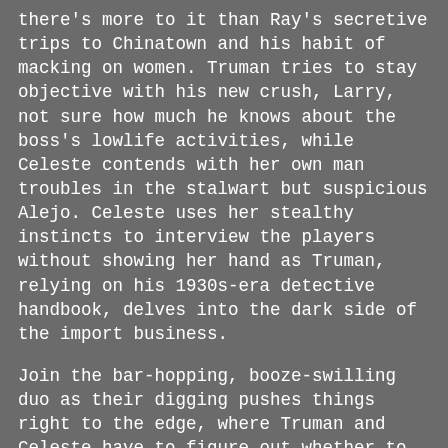there's more to it than Ray's secretive trips to Chinatown and his habit of macking on women. Truman tries to stay objective with his new crush, Larry, not sure how much he knows about the boss's lowlife activities, while Celeste contends with her own man troubles in the stalwart but suspicious Alejo. Celeste uses her stealthy instincts to interview the players without showing her hand as Truman, relying on his 1930s-era detective handbook, delves into the dark side of the import business.
Join the bar-hopping, booze-swilling duo as their digging pushes things right to the edge, where Truman and Celeste have to figure out whether to do what's easy or do what's right.
“Truman is like that twinkie who slipped through your fingers that time—sweet and a little naive but whip-smart. And